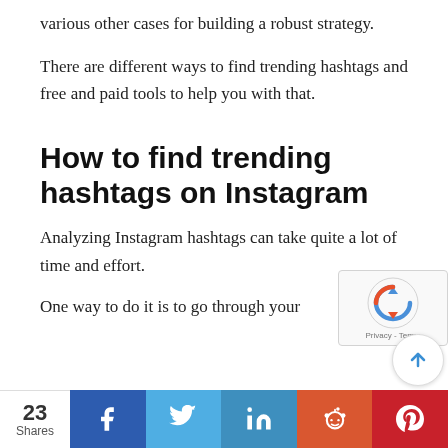various other cases for building a robust strategy.
There are different ways to find trending hashtags and free and paid tools to help you with that.
How to find trending hashtags on Instagram
Analyzing Instagram hashtags can take quite a lot of time and effort.
One way to do it is to go through your
[Figure (infographic): reCAPTCHA logo and Privacy-Terms label overlay in top-right corner]
[Figure (other): Scroll-to-top circular button with blue upward arrow]
23 Shares | Facebook | Twitter | LinkedIn | Reddit | Pinterest social share bar